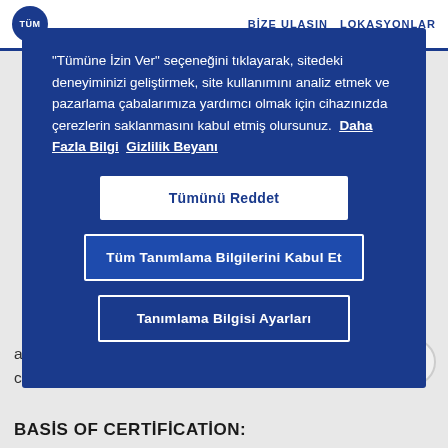TÜM  BİZE ULAŞIN  LOKASYONLAR
"Tümüne İzin Ver" seçeneğini tıklayarak, sitedeki deneyiminizi geliştirmek, site kullanımını analiz etmek ve pazarlama çabalarımıza yardımcı olmak için cihazınızda çerezlerin saklanmasını kabul etmiş olursunuz.  Daha Fazla Bilgi  Gizlilik Beyanı
Tümünü Reddet
Tüm Tanımlama Bilgilerini Kabul Et
Tanımlama Bilgisi Ayarları
at ensuring that the certified product is suitable for use in conjunction with food products.
BASIS OF CERTIFICATION: